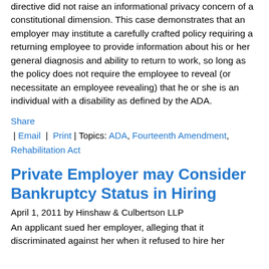directive did not raise an informational privacy concern of a constitutional dimension. This case demonstrates that an employer may institute a carefully crafted policy requiring a returning employee to provide information about his or her general diagnosis and ability to return to work, so long as the policy does not require the employee to reveal (or necessitate an employee revealing) that he or she is an individual with a disability as defined by the ADA.
Share | Email | Print | Topics: ADA, Fourteenth Amendment, Rehabilitation Act
Private Employer may Consider Bankruptcy Status in Hiring
April 1, 2011 by Hinshaw & Culbertson LLP
An applicant sued her employer, alleging that it discriminated against her when it refused to hire her